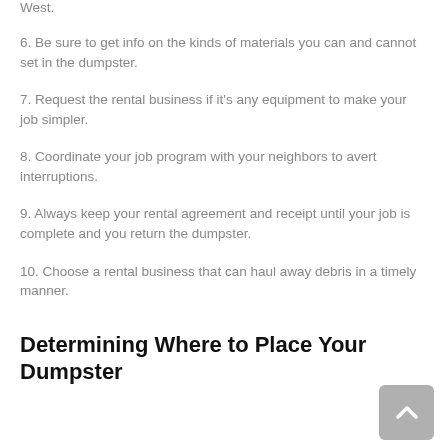West.
6. Be sure to get info on the kinds of materials you can and cannot set in the dumpster.
7. Request the rental business if it's any equipment to make your job simpler.
8. Coordinate your job program with your neighbors to avert interruptions.
9. Always keep your rental agreement and receipt until your job is complete and you return the dumpster.
10. Choose a rental business that can haul away debris in a timely manner.
Determining Where to Place Your Dumpster